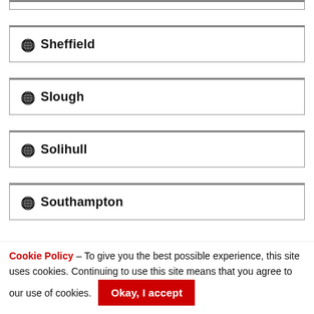Sheffield
Slough
Solihull
Southampton
Cookie Policy – To give you the best possible experience, this site uses cookies. Continuing to use this site means that you agree to our use of cookies. Okay, I accept